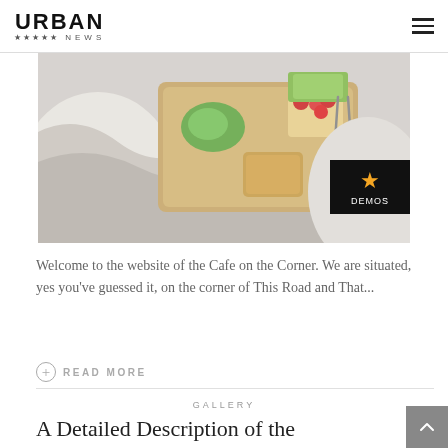URBAN ★★★★★ NEWS
[Figure (photo): A breakfast tray with food including strawberries, salad, bread and utensils placed on a white bedspread]
Welcome to the website of the Cafe on the Corner. We are situated, yes you've guessed it, on the corner of This Road and That...
READ MORE
GALLERY
A Detailed Description of the